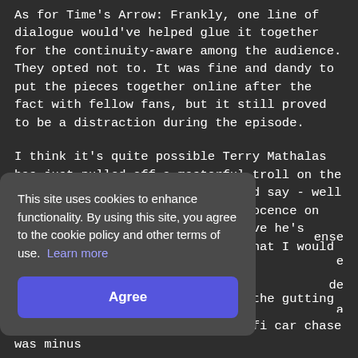As for Time's Arrow: Frankly, one line of dialogue would've helped glue it together for the continuity-aware among the audience. They opted not to. It was fine and dandy to put the pieces together online after the fact with fellow fans, but it still proved to be a distraction during the episode.
I think it's quite possible Terry Mathalas has just pulled off a masterful troll on the fanbase. I doff my hat to him and say - well done! And if he protests his innocence on this matter, the more I'll believe he's guilty, because it's *exactly* what I would have done in his place. ;)
What was most disconcerting was the gutting of Guinan's [text partially obscured by cookie banner] ...ense ...e ...de ...a ...isdom ...y. As ...e El-
This site uses cookies to enhance functionality. By using this site, you agree to the cookie policy and other terms of use. Learn more
Agree
I hadn't noticed the Seven / Raffi car chase was minus...